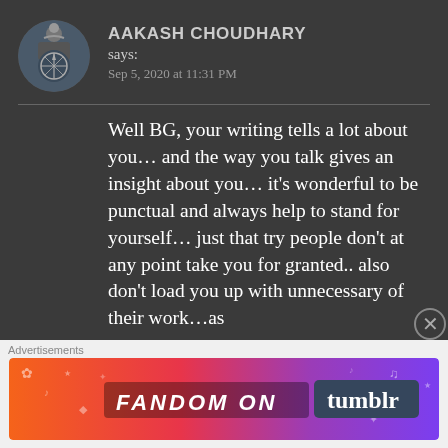AAKASH CHOUDHARY says: Sep 5, 2020 at 11:31 PM
Well BG, your writing tells a lot about you… and the way you talk gives an insight about you… it's wonderful to be punctual and always help to stand for yourself… just that try people don't at any point take you for granted.. also don't load you up with unnecessary of their work…as
Advertisements
[Figure (infographic): FANDOM ON tumblr advertisement banner with colorful orange-to-purple gradient background with doodle icons]